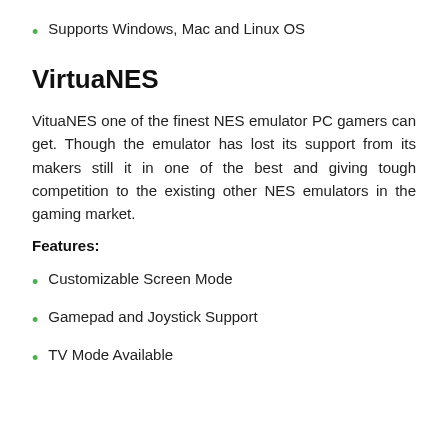Supports Windows, Mac and Linux OS
VirtuaNES
VituaNES one of the finest NES emulator PC gamers can get. Though the emulator has lost its support from its makers still it in one of the best and giving tough competition to the existing other NES emulators in the gaming market.
Features:
Customizable Screen Mode
Gamepad and Joystick Support
TV Mode Available